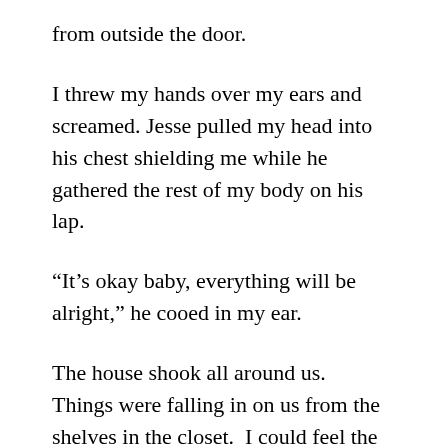from outside the door.
I threw my hands over my ears and screamed. Jesse pulled my head into his chest shielding me while he gathered the rest of my body on his lap.
“It’s okay baby, everything will be alright,” he cooed in my ear.
The house shook all around us.  Things were falling in on us from the shelves in the closet.  I could feel the air rushing under the crack of the door.  I heard the door being ripped off and felt the wind rushing all around us.  I could hear myself whimpering.  Jesse held on to me